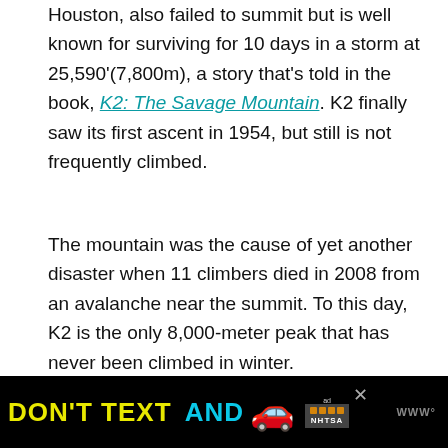Houston, also failed to summit but is well known for surviving for 10 days in a storm at 25,590'(7,800m), a story that's told in the book, K2: The Savage Mountain. K2 finally saw its first ascent in 1954, but still is not frequently climbed.
The mountain was the cause of yet another disaster when 11 climbers died in 2008 from an avalanche near the summit. To this day, K2 is the only 8,000-meter peak that has never been climbed in winter.
[Figure (other): Advertisement banner: 'DON'T TEXT AND' in yellow and cyan bold text with a red car emoji, an 'ad' badge, and NHTSA logo on black background. A close button (x) and menu icon are visible.]